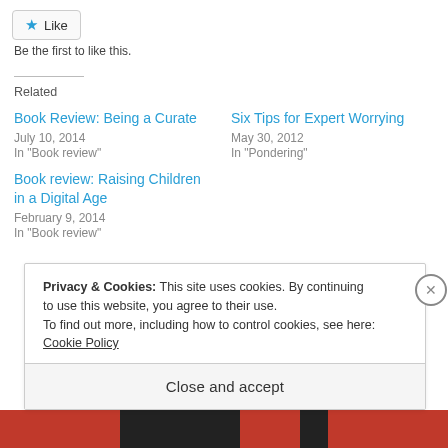[Figure (other): Like button with blue star icon]
Be the first to like this.
Related
Book Review: Being a Curate
July 10, 2014
In "Book review"
Six Tips for Expert Worrying
May 30, 2012
In "Pondering"
Book review: Raising Children in a Digital Age
February 9, 2014
In "Book review"
Privacy & Cookies: This site uses cookies. By continuing to use this website, you agree to their use.
To find out more, including how to control cookies, see here: Cookie Policy
Close and accept